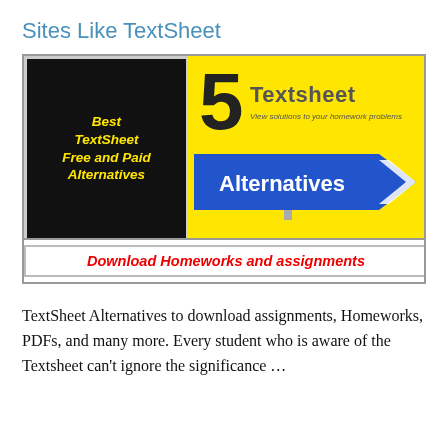Sites Like TextSheet
[Figure (illustration): Thumbnail image showing '5 Best TextSheet Free and Paid Alternatives - Download Homeworks and assignments' with a black panel with yellow bold italic text on the left, a yellow background with a large '5' and 'Textsheet' label plus a blue directional sign reading 'Alternatives' on the right, and a red-text banner at the bottom reading 'Download Homeworks and assignments'.]
TextSheet Alternatives to download assignments, Homeworks, PDFs, and many more. Every student who is aware of the Textsheet can’t ignore the significance …